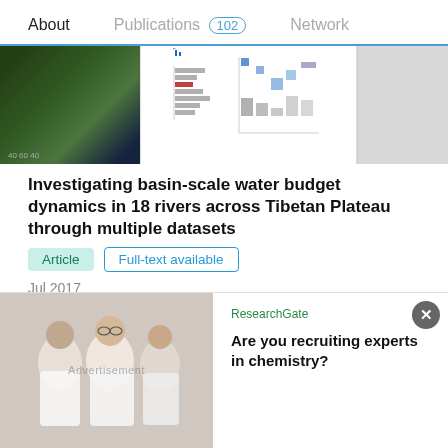About   Publications 102   Network
[Figure (other): Thumbnail strip of publication figures including a microscopy image and several charts/graphs]
Investigating basin-scale water budget dynamics in 18 rivers across Tibetan Plateau through multiple datasets
Article   Full-text available
Jul 2017
Wenbin Liu · Fubao Sun · Yanzhong li · [...] · Bai Peng
The dynamics of basin-scale water budgets are not well understood nowadays over the Tibetan Plateau (TP) due to the lack of hydro-climatic observations. In this study, we investigate
[Figure (photo): Advertisement banner: ResearchGate ad showing scientists in a lab. Text: Are you recruiting experts in chemistry?]